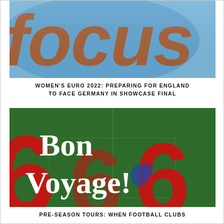[Figure (photo): Blurred orange and blue graphic with the word 'focus' visible in large stylized letters against a blue/grey background]
WOMEN'S EURO 2022: PREPARING FOR ENGLAND TO FACE GERMANY IN SHOWCASE FINAL
[Figure (photo): Graphic image with large red stylized letters/numbers in background over a green football pitch, with 'Bon Voyage!' text in large bold white serif font overlaid]
PRE-SEASON TOURS: WHEN FOOTBALL CLUBS